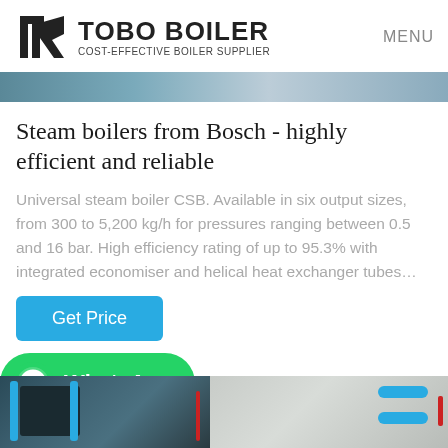TOBO BOILER COST-EFFECTIVE BOILER SUPPLIER | MENU
[Figure (photo): Top banner strip showing industrial/boiler equipment in blue-grey tones]
Steam boilers from Bosch - highly efficient and reliable
Universal steam boiler CSB. Available in six output sizes, from 300 to 5,200 kg/h for pressures ranging between 0.5 and 16 bar. High efficiency rating of up to 95.3% with integrated economiser and helical heat exchanger tubes…
[Figure (other): Blue 'Get Price' button]
[Figure (other): Green WhatsApp button with WhatsApp logo icon and label 'WhatsApp']
[Figure (photo): Bottom image strip showing industrial boiler piping and equipment, blue pipes visible on both sides]